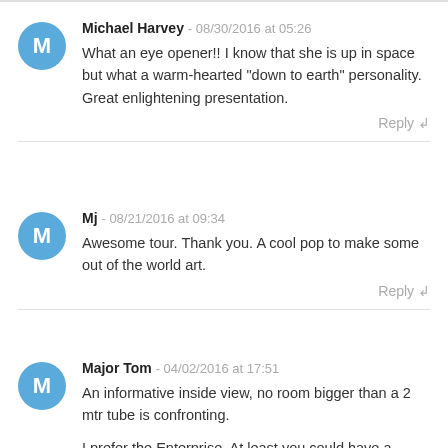Michael Harvey - 08/30/2016 at 05:26
What an eye opener!! I know that she is up in space but what a warm-hearted "down to earth" personality. Great enlightening presentation.
Reply
Mj - 08/21/2016 at 09:34
Awesome tour. Thank you. A cool pop to make some out of the world art.
Reply
Major Tom - 04/02/2016 at 17:51
An informative inside view, no room bigger than a 2 mtr tube is confronting.

I prefer the Enterprise. At least you could have a game of bowls.